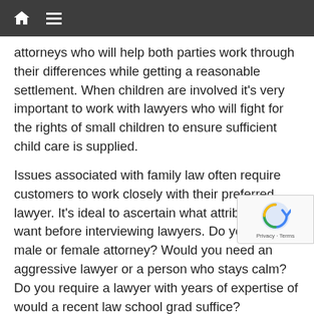Navigation bar with home and menu icons
attorneys who will help both parties work through their differences while getting a reasonable settlement. When children are involved it's very important to work with lawyers who will fight for the rights of small children to ensure sufficient child care is supplied.
Issues associated with family law often require customers to work closely with their preferred lawyer. It's ideal to ascertain what attributes you want before interviewing lawyers. Do you want a male or female attorney? Would you need an aggressive lawyer or a person who stays calm? Do you require a lawyer with years of expertise of would a recent law school grad suffice?
It can be valuable to make a list of queries, concerns, and the desirable result. Organize all documents regarding the legal matter. By way of instance, divorce attorneys will call for financial re… property deeds, auto names, present and preceding years' t… returns, and advice encompassing minor children.